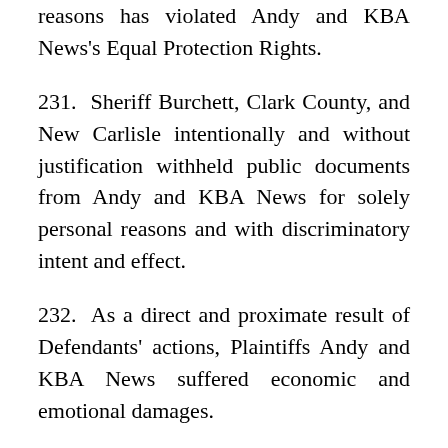reasons has violated Andy and KBA News's Equal Protection Rights.
231. Sheriff Burchett, Clark County, and New Carlisle intentionally and without justification withheld public documents from Andy and KBA News for solely personal reasons and with discriminatory intent and effect.
232. As a direct and proximate result of Defendants' actions, Plaintiffs Andy and KBA News suffered economic and emotional damages.
233. As a direct and proximate result of Defendants' actions, Plaintiffs business pursuits have been frustrated, their reputation has been damaged, and Andy has suffered non-economic